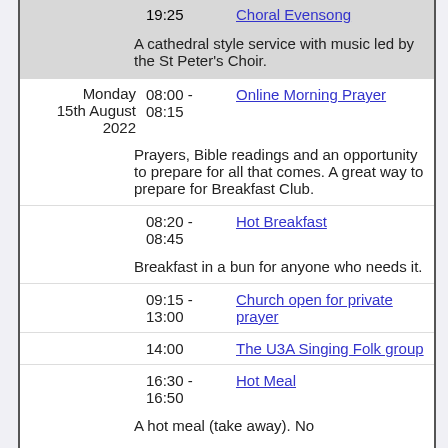| Date | Time | Event |
| --- | --- | --- |
|  | 19:25 | Choral Evensong |
|  |  | A cathedral style service with music led by the St Peter's Choir. |
| Monday 15th August 2022 | 08:00 - 08:15 | Online Morning Prayer |
|  |  | Prayers, Bible readings and an opportunity to prepare for all that comes. A great way to prepare for Breakfast Club. |
|  | 08:20 - 08:45 | Hot Breakfast |
|  |  | Breakfast in a bun for anyone who needs it. |
|  | 09:15 - 13:00 | Church open for private prayer |
|  | 14:00 | The U3A Singing Folk group |
|  | 16:30 - 16:50 | Hot Meal |
|  |  | A hot meal (take away). No... |